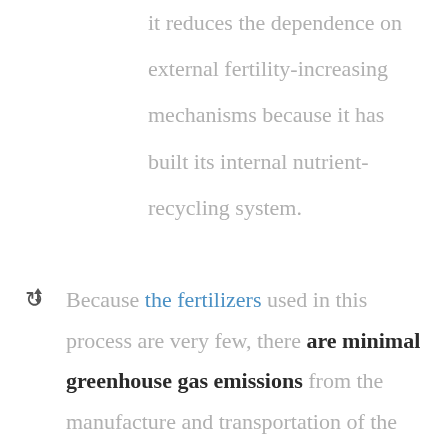it reduces the dependence on external fertility-increasing mechanisms because it has built its internal nutrient-recycling system.
Because the fertilizers used in this process are very few, there are minimal greenhouse gas emissions from the manufacture and transportation of the